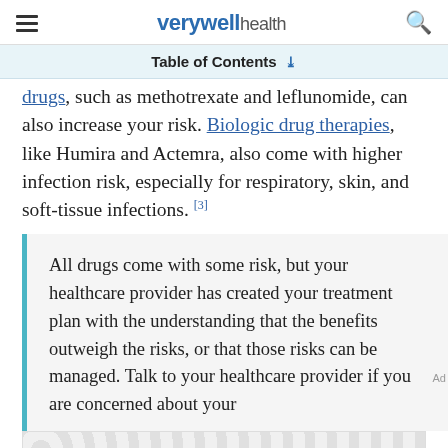verywell health
Table of Contents ∨
drugs, such as methotrexate and leflunomide, can also increase your risk. Biologic drug therapies, like Humira and Actemra, also come with higher infection risk, especially for respiratory, skin, and soft-tissue infections. [3]
All drugs come with some risk, but your healthcare provider has created your treatment plan with the understanding that the benefits outweigh the risks, or that those risks can be managed. Talk to your healthcare provider if you are concerned about your
[Figure (other): Advertisement placeholder with circular pattern background]